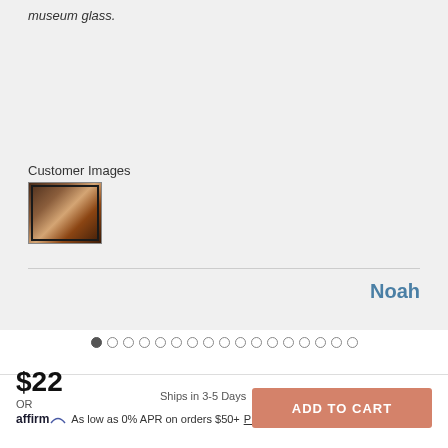museum glass.
Customer Images
[Figure (photo): Customer photo showing a framed artwork hung on a wall]
Noah
$22
OR
Ships in 3-5 Days
affirm As low as 0% APR on orders $50+ Prequalify now
ADD TO CART